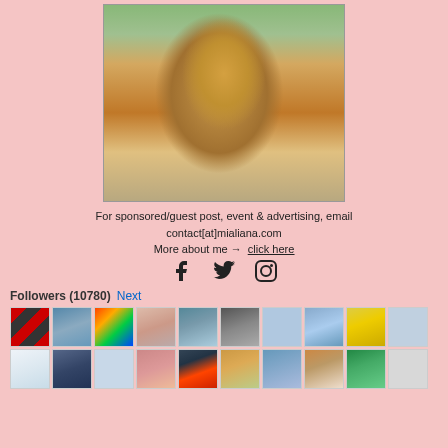[Figure (photo): A woman wearing a yellow hijab and striped long-sleeve shirt, holding decorated pastries/cake, sitting at a restaurant table. Watermark text 'mialiana' visible on image.]
For sponsored/guest post, event & advertising, email contact[at]mialiana.com
More about me → click here
[Figure (other): Social media icons: Facebook, Twitter, Instagram]
Followers (10780) Next
[Figure (other): Grid of follower profile thumbnails, two rows of 10 avatars each]